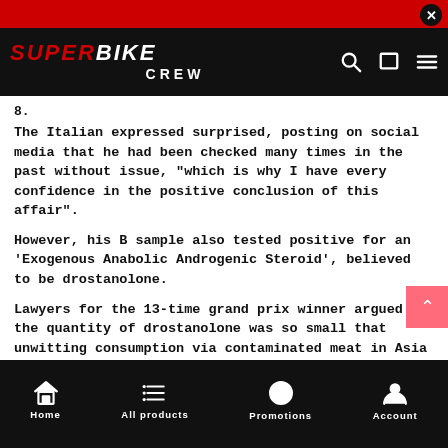SUPERBIKE CREW
8.
The Italian expressed surprised, posting on social media that he had been checked many times in the past without issue, "which is why I have every confidence in the positive conclusion of this affair".
However, his B sample also tested positive for an 'Exogenous Anabolic Androgenic Steroid', believed to be drostanolone.
Lawyers for the 13-time grand prix winner argued the quantity of drostanolone was so small that unwitting consumption via contaminated meat in Asia was a possible explanation. They also presented evidence that analysis of a hair sample proved 'negative'.
Home  All products  Promotions  Account